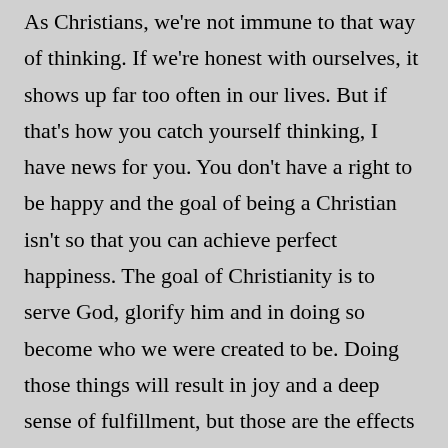As Christians, we're not immune to that way of thinking. If we're honest with ourselves, it shows up far too often in our lives. But if that's how you catch yourself thinking, I have news for you. You don't have a right to be happy and the goal of being a Christian isn't so that you can achieve perfect happiness. The goal of Christianity is to serve God, glorify him and in doing so become who we were created to be. Doing those things will result in joy and a deep sense of fulfillment, but those are the effects of the Christian life, not the goals.
Achieving the goal of living how God wants us to requires pain. Life is going to hurt. If it doesn't, we're probably not living in the way God is calling us to. Instead, we're living in a Flashback-esque state where we've chosen to deny the reality that life is hard and painful. Instead we stick our heads in the sand, embrace our sense of false entitlement and live a life